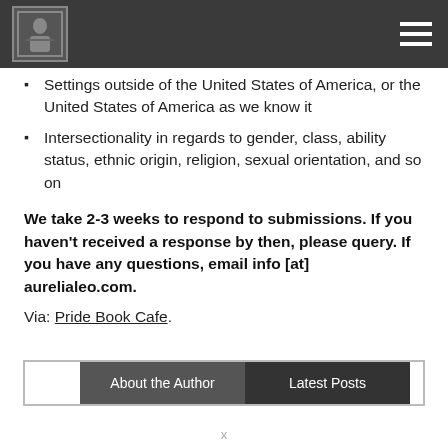[Navigation bar with logo and hamburger menu]
Settings outside of the United States of America, or the United States of America as we know it
Intersectionality in regards to gender, class, ability status, ethnic origin, religion, sexual orientation, and so on
We take 2-3 weeks to respond to submissions. If you haven't received a response by then, please query. If you have any questions, email info [at] aurelialeo.com.
Via: Pride Book Cafe.
| About the Author | Latest Posts |
| --- | --- |